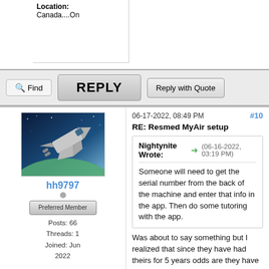Location:
Canada....On
Find | REPLY | Reply with Quote
06-17-2022, 08:49 PM  #10
RE: Resmed MyAir setup
Nightynite Wrote: → (06-16-2022, 03:19 PM)

Someone will need to get the serial number from the back of the machine and enter that info in the app. Then do some tutoring with the app.
[Figure (photo): Space shuttle photo used as forum avatar for user hh9797]
hh9797
Posts: 66
Threads: 1
Joined: Jun 2022
Machine: Resmed Airsense 11
Was about to say something but I realized that since they have had theirs for 5 years odds are they have an older model, I was going to say that you can sync the MyAir account to your machine via Bluetooth, but I think that is just for the AirSense 11 models that have that option.